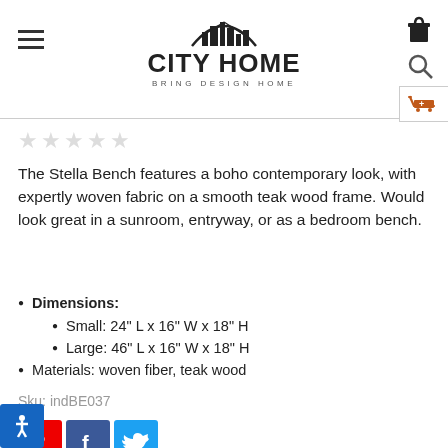City Home — Bring Design Home
[Figure (logo): City Home logo with cityscape silhouette and text CITY HOME BRING DESIGN HOME]
★★★★★ (empty stars rating)
The Stella Bench features a boho contemporary look, with expertly woven fabric on a smooth teak wood frame. Would look great in a sunroom, entryway, or as a bedroom bench.
Dimensions:
Small: 24" L x 16" W x 18" H
Large: 46" L x 16" W x 18" H
Materials: woven fiber, teak wood
Sku: indBE037
[Figure (infographic): Social share buttons: Pinterest, Facebook, Twitter]